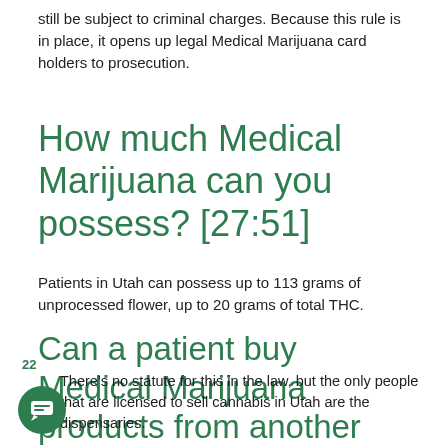still be subject to criminal charges. Because this rule is in place, it opens up legal Medical Marijuana card holders to prosecution.
How much Medical Marijuana can you possess? [27:51]
Patients in Utah can possess up to 113 grams of unprocessed flower, up to 20 grams of total THC.
Can a patient buy Medical Marijuana products from another patient? [41:06]
22
There's no statute for this in the law, but the only people that are licensed to sell cannabis in Utah are the dispensaries.